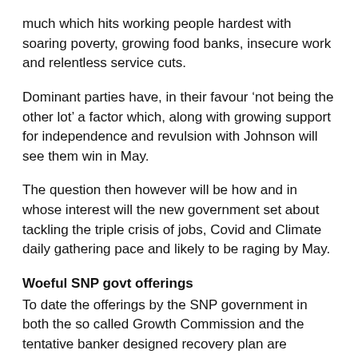much which hits working people hardest with soaring poverty, growing food banks, insecure work and relentless service cuts.
Dominant parties have, in their favour ‘not being the other lot’ a factor which, along with growing support for independence and revulsion with Johnson will see them win in May.
The question then however will be how and in whose interest will the new government set about tackling the triple crisis of jobs, Covid and Climate daily gathering pace and likely to be raging by May.
Woeful SNP govt offerings
To date the offerings by the SNP government in both the so called Growth Commission and the tentative banker designed recovery plan are woefully inadequate and entirely trapped within the confines of conventional market economics.